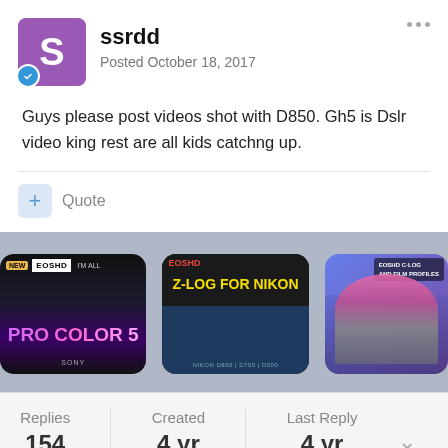ssrdd — Posted October 18, 2017
Guys please post videos shot with D850. Gh5 is Dslr video king rest are all kids catchng up.
[Figure (screenshot): Three advertisement thumbnail images: EOSHD PRO COLOR 5, EOSHD Z-LOG FOR NIKON, and EOSHD C-LOG AND FILM PROFILES with a girl in pink wig]
| Replies | Created | Last Reply |
| --- | --- | --- |
| 154 | 4 yr | 4 yr |